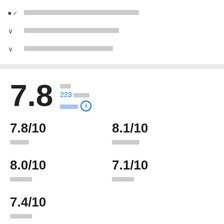■✓ ████████████████████████████████
∨ █████████████████████████████
∨ ████████████████████████████
7.8
■■
223 ■■■
■■■■ ⓘ
7.8/10
■■■
8.1/10
■■■■■
8.0/10
■■■■
7.1/10
■■■■
7.4/10
■■■■